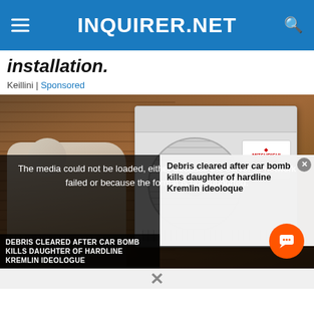INQUIRER.NET
installation.
Keillini | Sponsored
[Figure (photo): A technician crouching beside a large white Mitsubishi Electric heat pump or air conditioning outdoor unit installed against a brick wall.]
The media could not be loaded, either because the server or network failed or because the format is not supported.
Debris cleared after car bomb kills daughter of hardline Kremlin ideoloque
DEBRIS CLEARED AFTER CAR BOMB KILLS DAUGHTER OF HARDLINE KREMLIN IDEOLOGUE